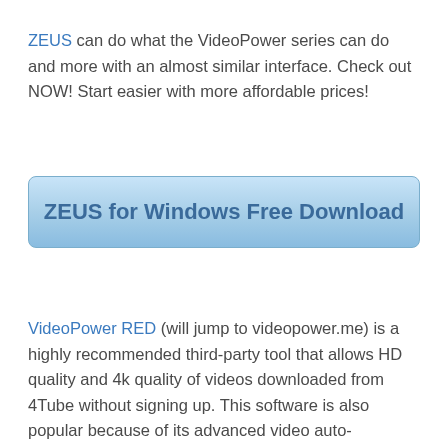ZEUS can do what the VideoPower series can do and more with an almost similar interface. Check out NOW! Start easier with more affordable prices!
[Figure (other): A blue gradient button labeled 'ZEUS for Windows Free Download']
VideoPower RED (will jump to videopower.me) is a highly recommended third-party tool that allows HD quality and 4k quality of videos downloaded from 4Tube without signing up. This software is also popular because of its advanced video auto-